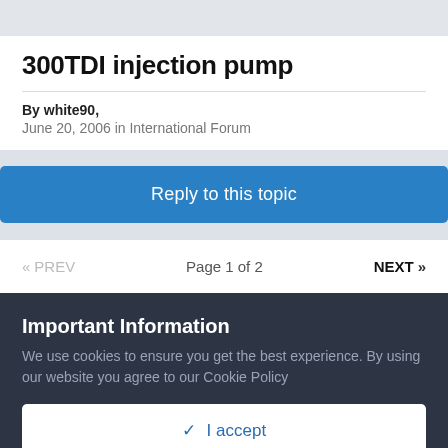300TDI injection pump
By white90,
June 20, 2006 in International Forum
Reply to this topic
« PREV   Page 1 of 2   NEXT »
Important Information
We use cookies to ensure you get the best experience. By using our website you agree to our Cookie Policy
✓ I accept